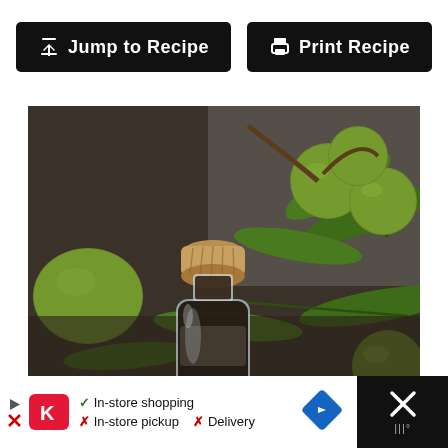[Figure (other): Two black buttons side by side: 'Jump to Recipe' with a download arrow icon, and 'Print Recipe' with a printer icon, both on black rounded-rectangle backgrounds with white text.]
[Figure (photo): A photograph of green walnuts on a branch with leaves, and a small glass bottle with a cork stopper filled with dark liquid (black walnut tincture) in the foreground on a dark soil background.]
[Figure (other): Advertisement bar at the bottom showing Kroger logo, checkmarks and X marks for 'In-store shopping', 'In-store pickup', 'Delivery', a blue diamond arrow icon, and a close X button on black background.]